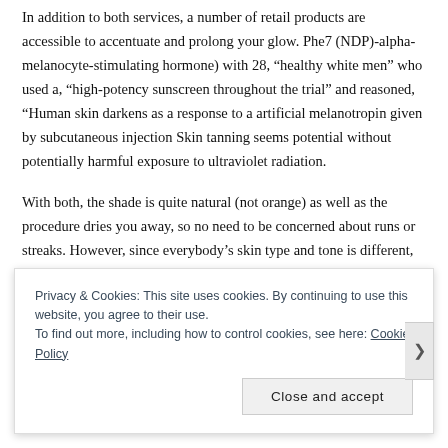In addition to both services, a number of retail products are accessible to accentuate and prolong your glow. Phe7 (NDP)-alpha-melanocyte-stimulating hormone) with 28, “healthy white men” who used a, “high-potency sunscreen throughout the trial” and reasoned, “Human skin darkens as a response to a artificial melanotropin given by subcutaneous injection Skin tanning seems potential without potentially harmful exposure to ultraviolet radiation.
With both, the shade is quite natural (not orange) as well as the procedure dries you away, so no need to be concerned about runs or streaks. However, since everybody’s skin type and tone is different, results can occasionally change. The radical booth only takes a few minutes, and has three degrees to choose from.
Featuring a cosmetic bronzer derived from walnut extracts, our
Privacy & Cookies: This site uses cookies. By continuing to use this website, you agree to their use.
To find out more, including how to control cookies, see here: Cookie Policy